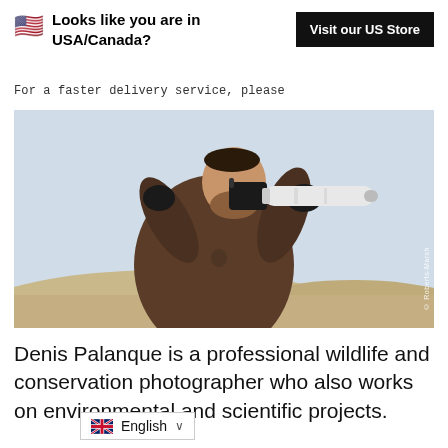Looks like you are in USA/Canada?
For a faster delivery service, please
[Figure (photo): A man in a brown puffer jacket and black gloves holding and looking through a large white telephoto camera lens outdoors with a natural sandy/dune background.]
Denis Palanque is a professional wildlife and conservation photographer who also works on environmental and scientific projects.